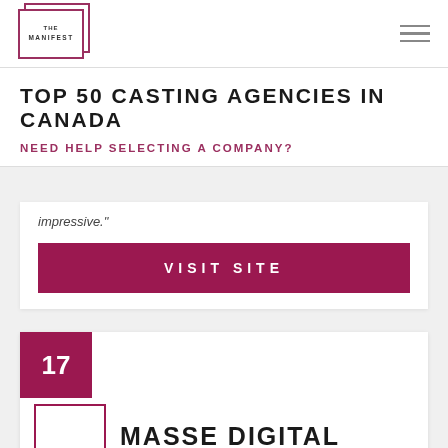THE MANIFEST
TOP 50 CASTING AGENCIES IN CANADA
NEED HELP SELECTING A COMPANY?
impressive."
VISIT SITE
17
MASSE DIGITAL
|  |  |
| --- | --- |
| Scheduling | 4.5 |